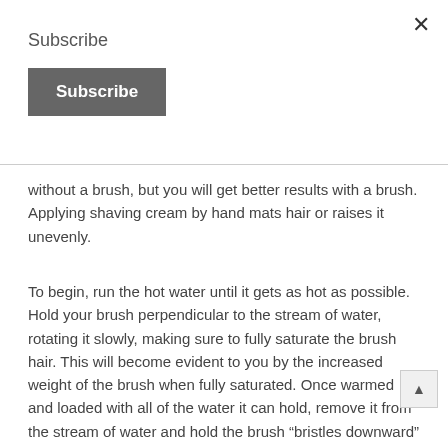Subscribe
Subscribe
without a brush, but you will get better results with a brush. Applying shaving cream by hand mats hair or raises it unevenly.
To begin, run the hot water until it gets as hot as possible. Hold your brush perpendicular to the stream of water, rotating it slowly, making sure to fully saturate the brush hair. This will become evident to you by the increased weight of the brush when fully saturated. Once warmed and loaded with all of the water it can hold, remove it from the stream of water and hold the brush “bristles downward” over the sink. Do not shake, tap, flick, or otherwise cause it to drop the water. Allow it to drain only the excess water which the bristles are unable to hold. For Shave Cream: Add